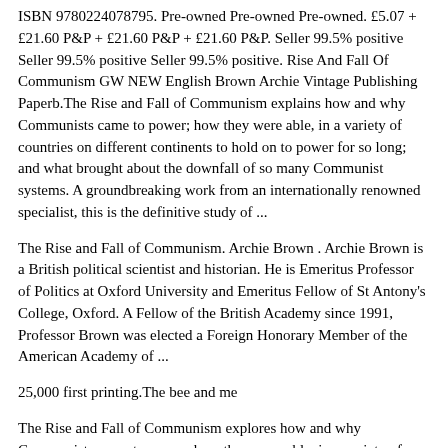ISBN 9780224078795. Pre-owned Pre-owned Pre-owned. £5.07 + £21.60 P&P + £21.60 P&P + £21.60 P&P. Seller 99.5% positive Seller 99.5% positive Seller 99.5% positive. Rise And Fall Of Communism GW NEW English Brown Archie Vintage Publishing Paperb.The Rise and Fall of Communism explains how and why Communists came to power; how they were able, in a variety of countries on different continents to hold on to power for so long; and what brought about the downfall of so many Communist systems. A groundbreaking work from an internationally renowned specialist, this is the definitive study of ...
The Rise and Fall of Communism. Archie Brown . Archie Brown is a British political scientist and historian. He is Emeritus Professor of Politics at Oxford University and Emeritus Fellow of St Antony's College, Oxford. A Fellow of the British Academy since 1991, Professor Brown was elected a Foreign Honorary Member of the American Academy of ...
25,000 first printing.The bee and me
The Rise and Fall of Communism explores how and why Communists came to power; how they were able, in a variety of countries on different continents, to hold on to power for so long; and what brought about the downfall of so many Communist systems. For this comprehensive and illuminating work, Brown draws on more than 40 years of research and on... November 3,